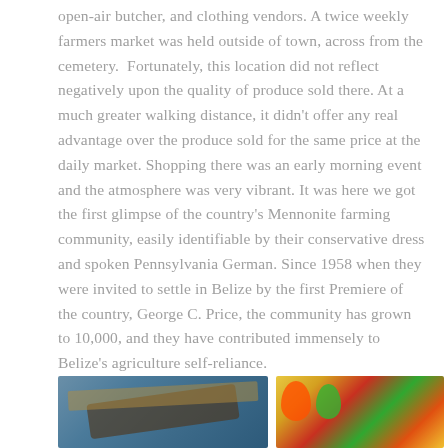open-air butcher, and clothing vendors. A twice weekly farmers market was held outside of town, across from the cemetery.  Fortunately, this location did not reflect negatively upon the quality of produce sold there. At a much greater walking distance, it didn't offer any real advantage over the produce sold for the same price at the daily market. Shopping there was an early morning event and the atmosphere was very vibrant. It was here we got the first glimpse of the country's Mennonite farming community, easily identifiable by their conservative dress and spoken Pennsylvania German. Since 1958 when they were invited to settle in Belize by the first Premiere of the country, George C. Price, the community has grown to 10,000, and they have contributed immensely to Belize's agriculture self-reliance.
[Figure (photo): Photo of what appears to be woven or basket-like materials, partially visible at bottom left of page]
[Figure (photo): Photo of colorful vegetables and produce, including peppers and other items, visible at bottom right of page]